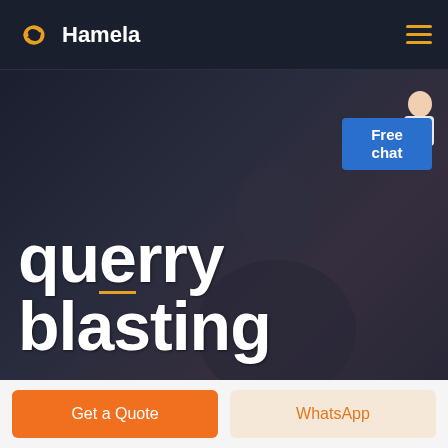[Figure (logo): Hamela logo with orange heart/infinity icon and white text]
querry blasting
[Figure (photo): Customer service representative with headset, dark background hero image with Free chat widget button]
Get a Quote
WhatsApp